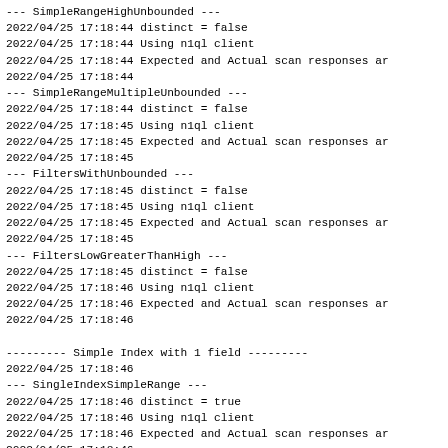--- SimpleRangeHighUnbounded ---
2022/04/25 17:18:44 distinct = false
2022/04/25 17:18:44 Using n1ql client
2022/04/25 17:18:44 Expected and Actual scan responses ar
2022/04/25 17:18:44
--- SimpleRangeMultipleUnbounded ---
2022/04/25 17:18:44 distinct = false
2022/04/25 17:18:45 Using n1ql client
2022/04/25 17:18:45 Expected and Actual scan responses ar
2022/04/25 17:18:45
--- FiltersWithUnbounded ---
2022/04/25 17:18:45 distinct = false
2022/04/25 17:18:45 Using n1ql client
2022/04/25 17:18:45 Expected and Actual scan responses ar
2022/04/25 17:18:45
--- FiltersLowGreaterThanHigh ---
2022/04/25 17:18:45 distinct = false
2022/04/25 17:18:46 Using n1ql client
2022/04/25 17:18:46 Expected and Actual scan responses ar
2022/04/25 17:18:46

--------- Simple Index with 1 field ---------
2022/04/25 17:18:46
--- SingleIndexSimpleRange ---
2022/04/25 17:18:46 distinct = true
2022/04/25 17:18:46 Using n1ql client
2022/04/25 17:18:46 Expected and Actual scan responses ar
2022/04/25 17:18:46
--- SingleIndex_SimpleRanges_NonOverlapping ---
2022/04/25 17:18:46 distinct = true
2022/04/25 17:18:46 Using n1ql client